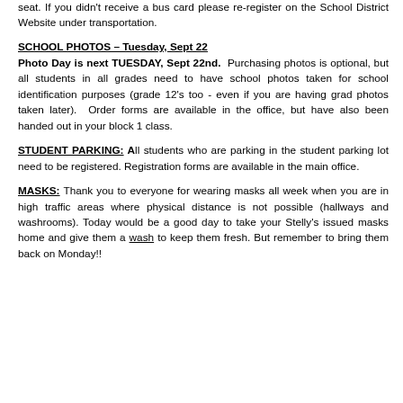seat. If you didn't receive a bus card please re-register on the School District Website under transportation.
SCHOOL PHOTOS – Tuesday, Sept 22
Photo Day is next TUESDAY, Sept 22nd. Purchasing photos is optional, but all students in all grades need to have school photos taken for school identification purposes (grade 12's too - even if you are having grad photos taken later). Order forms are available in the office, but have also been handed out in your block 1 class.
STUDENT PARKING: All students who are parking in the student parking lot need to be registered. Registration forms are available in the main office.
MASKS: Thank you to everyone for wearing masks all week when you are in high traffic areas where physical distance is not possible (hallways and washrooms). Today would be a good day to take your Stelly's issued masks home and give them a wash to keep them fresh. But remember to bring them back on Monday!!